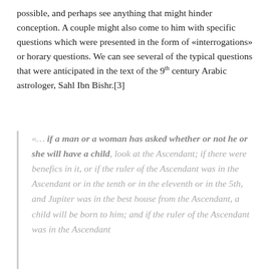possible, and perhaps see anything that might hinder conception. A couple might also come to him with specific questions which were presented in the form of «interrogations» or horary questions. We can see several of the typical questions that were anticipated in the text of the 9th century Arabic astrologer, Sahl Ibn Bishr.[3]
«… if a man or a woman has asked whether or not he or she will have a child, look at the Ascendant; if there were benefics in it, or if the ruler of the Ascendant was in the Ascendant or in the tenth or in the eleventh or in the 5th, and Jupiter was in the best house from the Ascendant, a child will be born to him; and if the ruler of the Ascendant was in the Ascendant